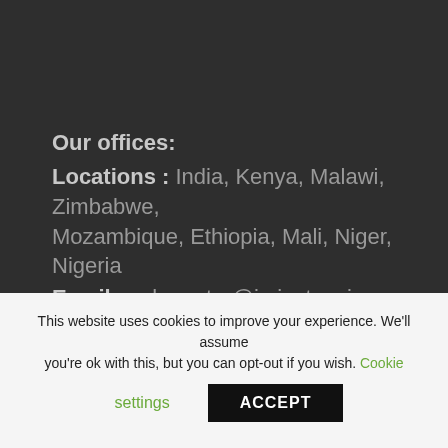Our offices:
Locations : India, Kenya, Malawi, Zimbabwe, Mozambique, Ethiopia, Mali, Niger, Nigeria
Email: webmaster@icrisat.ac.in
ICRISAT is a research center of the
[Figure (logo): ICRISAT logo — stylized wheat/grain plant with wing-like design in white on dark background]
This website uses cookies to improve your experience. We'll assume you're ok with this, but you can opt-out if you wish. Cookie settings ACCEPT